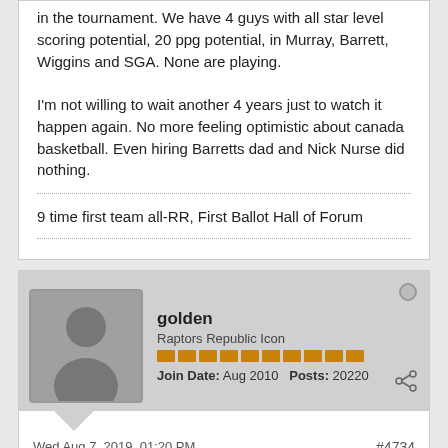in the tournament. We have 4 guys with all star level scoring potential, 20 ppg potential, in Murray, Barrett, Wiggins and SGA. None are playing.
I'm not willing to wait another 4 years just to watch it happen again. No more feeling optimistic about canada basketball. Even hiring Barretts dad and Nick Nurse did nothing.
9 time first team all-RR, First Ballot Hall of Forum
golden
Raptors Republic Icon
Join Date: Aug 2010  Posts: 20220
Wed Aug 7, 2019, 01:20 PM
#4734
KeonClark wrote: Honestly, I'm tired of it. In 2012, it was "the